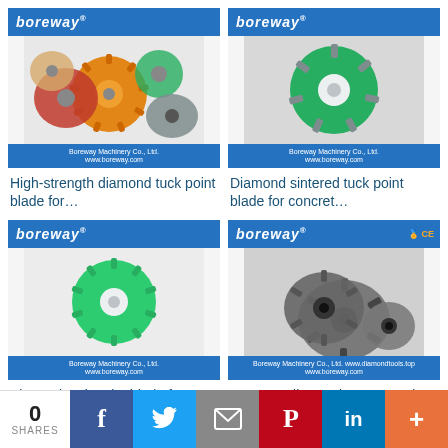[Figure (photo): Boreway branded product card showing multiple colorful diamond tuck point blades (orange, red, green, gray) on a blue background with company branding]
High-strength diamond tuck point blade for…
[Figure (photo): Boreway branded product card showing a green diamond sintered tuck point blade with gray segments on blue background]
Diamond sintered tuck point blade for concret…
[Figure (photo): Boreway branded product card showing a green sintered tuck point blade with white center hole on blue background]
Sintered tuck point blade for concrete
[Figure (photo): Boreway branded product card showing multiple dark gray diamond segmented crack chasing blades stacked together, with certification logos]
Boreway diamond segmented crack chas…
0 SHARES  [Facebook] [Twitter] [Email] [Pinterest] [LinkedIn] [+]